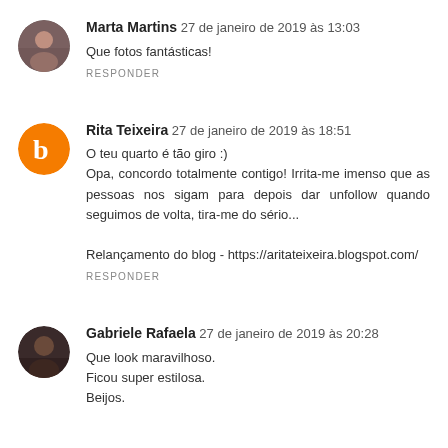Marta Martins 27 de janeiro de 2019 às 13:03
Que fotos fantásticas!
RESPONDER
Rita Teixeira 27 de janeiro de 2019 às 18:51
O teu quarto é tão giro :)
Opa, concordo totalmente contigo! Irrita-me imenso que as pessoas nos sigam para depois dar unfollow quando seguimos de volta, tira-me do sério...

Relançamento do blog - https://aritateixeira.blogspot.com/
RESPONDER
Gabriele Rafaela 27 de janeiro de 2019 às 20:28
Que look maravilhoso.
Ficou super estilosa.
Beijos.